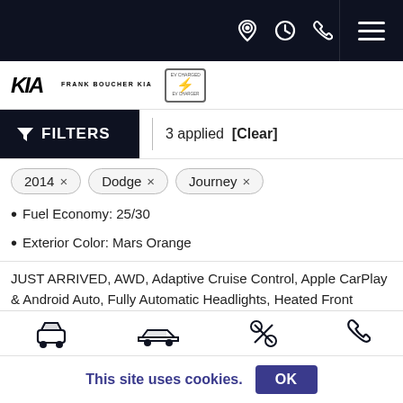Frank Boucher Kia — top navigation bar
[Figure (logo): Kia wordmark and Frank Boucher Kia dealer logo, plus EV Charged By Kia badge]
FILTERS | 3 applied [Clear]
2014 ×
Dodge ×
Journey ×
Fuel Economy: 25/30
Exterior Color: Mars Orange
JUST ARRIVED, AWD, Adaptive Cruise Control, Apple CarPlay & Android Auto, Fully Automatic Headlights, Heated Front Bucket Seats, Navigation System, Sofino Premium Leatherette Seat Trim,
More
$29,125
This site uses cookies. OK